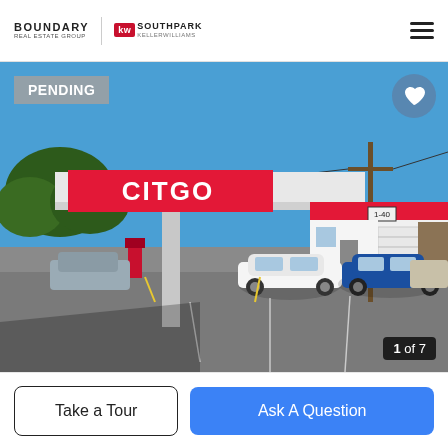BOUNDARY | kw SOUTHPARK
[Figure (photo): Exterior photo of a CITGO gas station with canopy displaying CITGO sign in red and white, attached convenience store with red accent stripe, parking lot with several vehicles including a white sedan and blue sedan, blue sky, utility pole, and trees in background. Badge showing PENDING in top left and heart button in top right. Photo counter '1 of 7' in bottom right.]
Take a Tour
Ask A Question